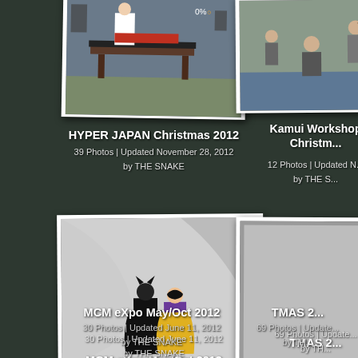[Figure (photo): Album card for HYPER JAPAN Christmas 2012 showing a performance or demonstration on stage with a table]
HYPER JAPAN Christmas 2012
39 Photos | Updated November 28, 2012
by THE SNAKE
[Figure (photo): Album card for Kamui Workshop Christmas showing people practicing or demonstrating something]
Kamui Workshop Christm...
12 Photos | Updated N...
by THE S...
[Figure (photo): Album card for MCM eXpo May/Oct 2012 showing Batman and Batgirl cosplayers in front of comic book wall mural]
MCM eXpo May/Oct 2012
30 Photos | Updated June 11, 2012
by THE SNAKE
[Figure (photo): Album card for TMAS 2... showing partial view]
TMAS 2...
69 Photos | Update...
by TH...